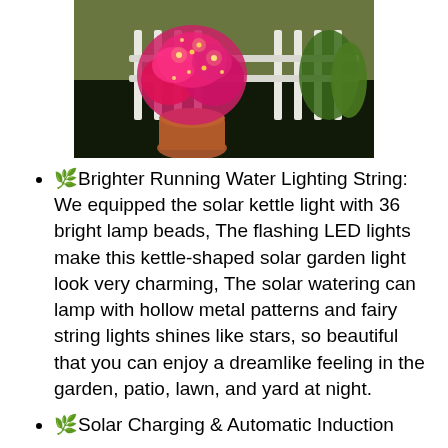[Figure (photo): Photo of a flowering plant with pink/magenta flowers in a terra cotta pot, decorated with warm string lights, in front of a white picket fence with green plants/grass in the background. Dark background.]
🌿Brighter Running Water Lighting String: We equipped the solar kettle light with 36 bright lamp beads, The flashing LED lights make this kettle-shaped solar garden light look very charming, The solar watering can lamp with hollow metal patterns and fairy string lights shines like stars, so beautiful that you can enjoy a dreamlike feeling in the garden, patio, lawn, and yard at night.
🌿Solar Charging & Automatic Induction